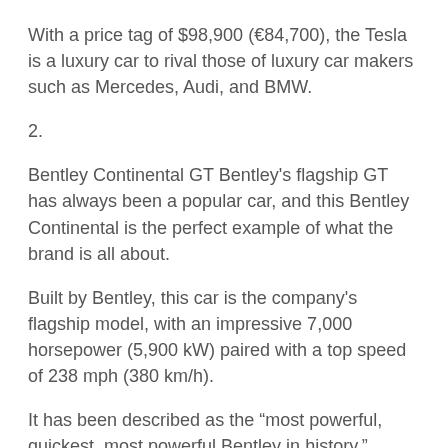With a price tag of $98,900 (€84,700), the Tesla is a luxury car to rival those of luxury car makers such as Mercedes, Audi, and BMW.
2.
Bentley Continental GT Bentley's flagship GT has always been a popular car, and this Bentley Continental is the perfect example of what the brand is all about.
Built by Bentley, this car is the company's flagship model, with an impressive 7,000 horsepower (5,900 kW) paired with a top speed of 238 mph (380 km/h).
It has been described as the “most powerful, quickest, most powerful Bentley in history.”
Bentley has also been producing an impressive line of electric